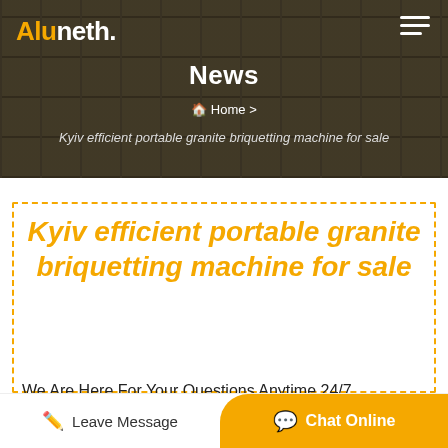[Figure (screenshot): Website header banner with industrial mining/processing plant background image, dark overlay. Shows 'Aluneth.' logo top left with 'Alu' in orange and 'neth.' in white, hamburger menu icon top right.]
News
Home > Kyiv efficient portable granite briquetting machine for sale
Kyiv efficient portable granite briquetting machine for sale
We Are Here For Your Questions Anytime 24/7,
Leave Message
Chat Online